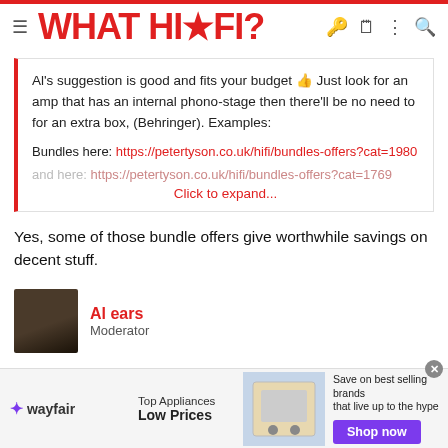WHAT HI*FI?
Al's suggestion is good and fits your budget 👍 Just look for an amp that has an internal phono-stage then there'll be no need to for an extra box, (Behringer). Examples:

Bundles here: https://petertyson.co.uk/hifi/bundles-offers?cat=1980

and here: https://petertyson.co.uk/hifi/bundles-offers?cat=1769
Click to expand...
Yes, some of those bundle offers give worthwhile savings on decent stuff.
Al ears
Moderator